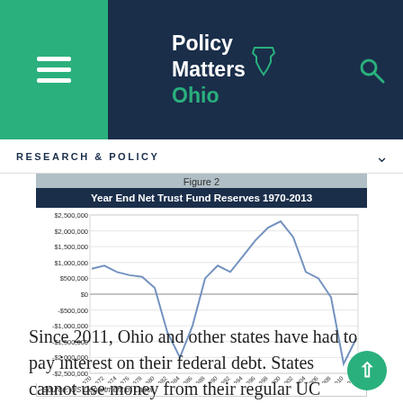Policy Matters Ohio
RESEARCH & POLICY
Figure 2
[Figure (line-chart): Year End Net Trust Fund Reserves 1970-2013]
Source: US Department of Labor
Since 2011, Ohio and other states have had to pay interest on their federal debt. States cannot use money from their regular UC taxes to pay interest. Nearly half of all states have a